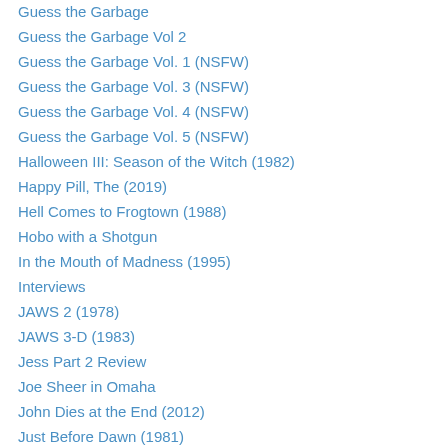Guess the Garbage
Guess the Garbage Vol 2
Guess the Garbage Vol. 1 (NSFW)
Guess the Garbage Vol. 3 (NSFW)
Guess the Garbage Vol. 4 (NSFW)
Guess the Garbage Vol. 5 (NSFW)
Halloween III: Season of the Witch (1982)
Happy Pill, The (2019)
Hell Comes to Frogtown (1988)
Hobo with a Shotgun
In the Mouth of Madness (1995)
Interviews
JAWS 2 (1978)
JAWS 3-D (1983)
Jess Part 2 Review
Joe Sheer in Omaha
John Dies at the End (2012)
Just Before Dawn (1981)
Killer Joe (2012)
Killer Party (1986)